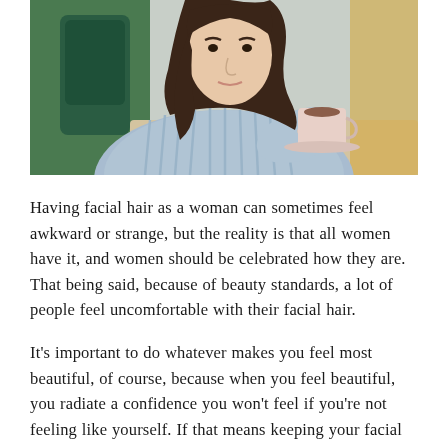[Figure (photo): A woman in a light blue ribbed sweater sitting at a café table, holding a light pink cup of coffee/tea on a saucer. Background shows green chairs and warm café lighting.]
Having facial hair as a woman can sometimes feel awkward or strange, but the reality is that all women have it, and women should be celebrated how they are. That being said, because of beauty standards, a lot of people feel uncomfortable with their facial hair.
It's important to do whatever makes you feel most beautiful, of course, because when you feel beautiful, you radiate a confidence you won't feel if you're not feeling like yourself. If that means keeping your facial hair, by all means, do it! But if that means